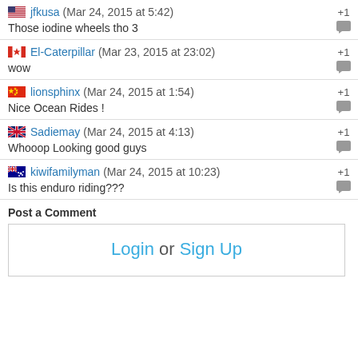jfkusa (Mar 24, 2015 at 5:42) +1
Those iodine wheels tho 3
El-Caterpillar (Mar 23, 2015 at 23:02) +1
wow
lionsphinx (Mar 24, 2015 at 1:54) +1
Nice Ocean Rides !
Sadiemay (Mar 24, 2015 at 4:13) +1
Whooop Looking good guys
kiwifamilyman (Mar 24, 2015 at 10:23) +1
Is this enduro riding???
Post a Comment
Login or Sign Up